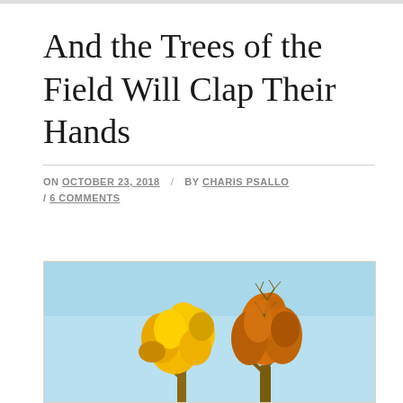And the Trees of the Field Will Clap Their Hands
ON OCTOBER 23, 2018 / BY CHARIS PSALLO / 6 COMMENTS
[Figure (photo): Autumn trees with golden and orange foliage against a light blue sky]